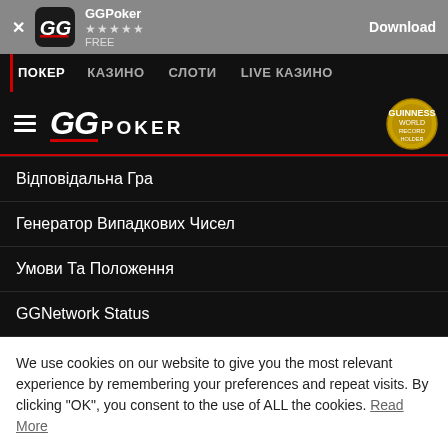[Figure (screenshot): GGPoker app install banner with icon, star rating, FREE label, and Download button]
ПОКЕР  КАЗИНО  СЛОТИ  LIVE КАЗИНО
[Figure (logo): GGPoker logo with hamburger menu icon and Record Holder badge]
Відповідальна Гра
Генератор Випадкових Чисел
Умови Та Положення
GGNetwork Status
We use cookies on our website to give you the most relevant experience by remembering your preferences and repeat visits. By clicking "OK", you consent to the use of ALL the cookies. Read More